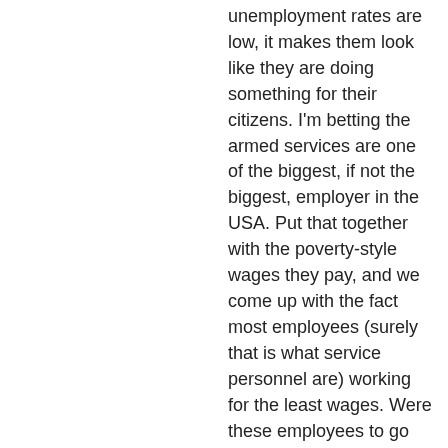unemployment rates are low, it makes them look like they are doing something for their citizens. I'm betting the armed services are one of the biggest, if not the biggest, employer in the USA. Put that together with the poverty-style wages they pay, and we come up with the fact most employees (surely that is what service personnel are) working for the least wages. Were these employees to go on strike, had they the right, or were they to just quit, what would your unemployment rate look like. I'm sure someone there could tell me. Your government is one of the worst employers in the world. Why do people still go into service.
A friend told me he joined the army as a youngster because no one else would hire him. And he truly appreciated that he had a job, even though his pay rate was barely livable. Is there not something wrong with this picture? People